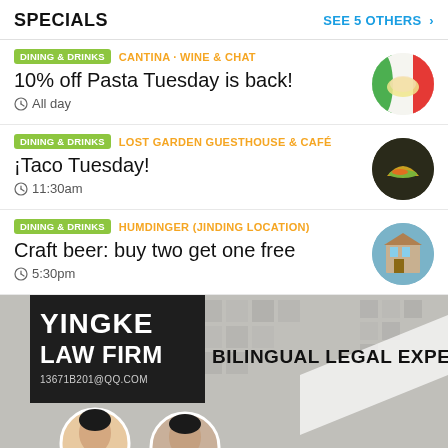SPECIALS   SEE 5 OTHERS >
DINING & DRINKS  CANTINA · WINE & CHAT
10% off Pasta Tuesday is back!
⊘ All day
DINING & DRINKS  LOST GARDEN GUESTHOUSE & CAFÉ
iTaco Tuesday!
⊘ 11:30am
DINING & DRINKS  HUMDINGER (JINDING LOCATION)
Craft beer: buy two get one free
⊘ 5:30pm
[Figure (advertisement): Yingke Law Firm advertisement with dark box showing firm name, contact 13671B201@QQ.COM, text BILINGUAL LEGAL EXPERTS, and two professional women's portrait photos]